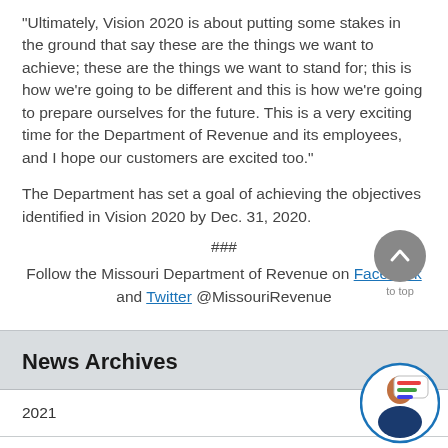“Ultimately, Vision 2020 is about putting some stakes in the ground that say these are the things we want to achieve; these are the things we want to stand for; this is how we’re going to be different and this is how we’re going to prepare ourselves for the future. This is a very exciting time for the Department of Revenue and its employees, and I hope our customers are excited too.”
The Department has set a goal of achieving the objectives identified in Vision 2020 by Dec. 31, 2020.
###
Follow the Missouri Department of Revenue on Facebook and Twitter @MissouriRevenue
News Archives
2021
2020